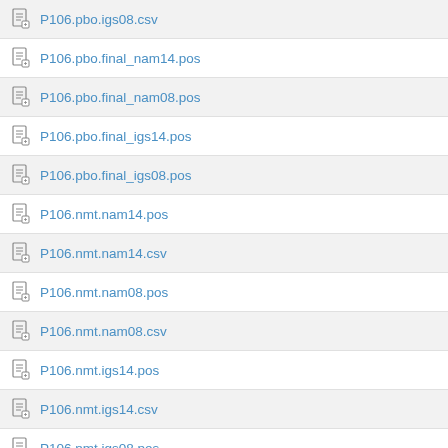P106.pbo.igs08.csv
P106.pbo.final_nam14.pos
P106.pbo.final_nam08.pos
P106.pbo.final_igs14.pos
P106.pbo.final_igs08.pos
P106.nmt.nam14.pos
P106.nmt.nam14.csv
P106.nmt.nam08.pos
P106.nmt.nam08.csv
P106.nmt.igs14.pos
P106.nmt.igs14.csv
P106.nmt.igs08.pos